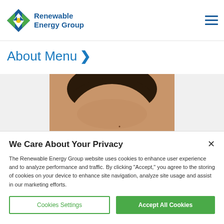Renewable Energy Group
About Menu
[Figure (photo): Partial photo of a person's head (top of head with dark hair visible), cropped at bottom]
We Care About Your Privacy
The Renewable Energy Group website uses cookies to enhance user experience and to analyze performance and traffic. By clicking "Accept," you agree to the storing of cookies on your device to enhance site navigation, analyze site usage and assist in our marketing efforts.
Cookies Settings | Accept All Cookies